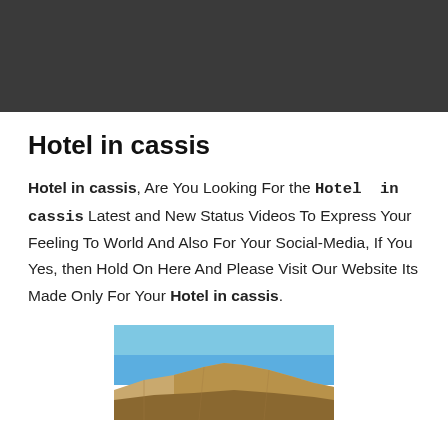Hotel in cassis
Hotel in cassis, Are You Looking For the Hotel in cassis Latest and New Status Videos To Express Your Feeling To World And Also For Your Social-Media, If You Yes, then Hold On Here And Please Visit Our Website Its Made Only For Your Hotel in cassis.
[Figure (photo): Outdoor photograph showing a rocky cliff or hillside under a clear blue sky, likely a scenic view near Cassis, France.]